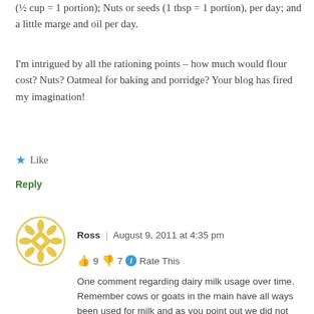(½ cup = 1 portion); Nuts or seeds (1 tbsp = 1 portion), per day; and a little marge and oil per day.
I'm intrigued by all the rationing points – how much would flour cost? Nuts? Oatmeal for baking and porridge? Your blog has fired my imagination!
Like
Reply
[Figure (illustration): Circular avatar with golden geometric flower/snowflake pattern on white background with gold border]
Ross | August 9, 2011 at 4:35 pm
👍 9 👎 7 ℹ Rate This
One comment regarding dairy milk usage over time. Remember cows or goats in the main have all ways been used for milk and as you point out we did not have the fridge so the milk was preserved in different ways. The milk was not just seen as a liquid product only used to drink or put in tea or make rice pudding with. It was a food stuff like all others, and used to get the most out